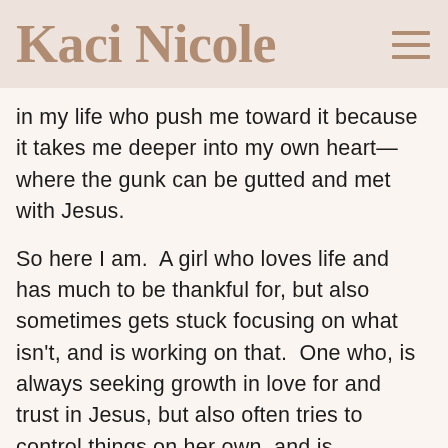Kaci Nicole
in my life who push me toward it because it takes me deeper into my own heart—where the gunk can be gutted and met with Jesus.
So here I am.  A girl who loves life and has much to be thankful for, but also sometimes gets stuck focusing on what isn't, and is working on that.  One who, is always seeking growth in love for and trust in Jesus, but also often tries to control things on her own, and is continually learning to let go.  I don't imagine the point is to ever have it fully figured out, but rather grow in these things consistently my entire life.